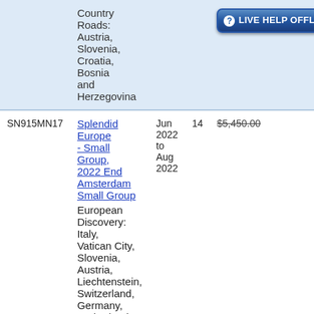| Code | Tour | Date | Days | Price |
| --- | --- | --- | --- | --- |
|  | Country Roads: Austria, Slovenia, Croatia, Bosnia and Herzegovina |  |  |  |
| SN915MN17 | Splendid Europe - Small Group, 2022 End Amsterdam Small Group | European Discovery: Italy, Vatican City, Slovenia, Austria, Liechtenstein, Switzerland, Germany, Netherlands | Jun 2022 to Aug 2022 | 14 | $5,450.00 |
| SN915MN18 | Splendid Europe - Small Group, 2023 End ... | May 2023 to | 14 | $5,450.00 |